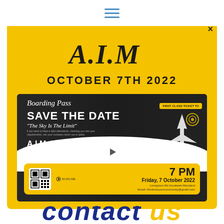☰ (hamburger menu)
A.I.M
OCTOBER 7TH 2022
[Figure (photo): Save the Date boarding pass flyer for A.I.M Fundraiser Gala on Friday October 7 2022 at 7PM, with QR code ticket, airplane graphic, and kids photo background]
contact us